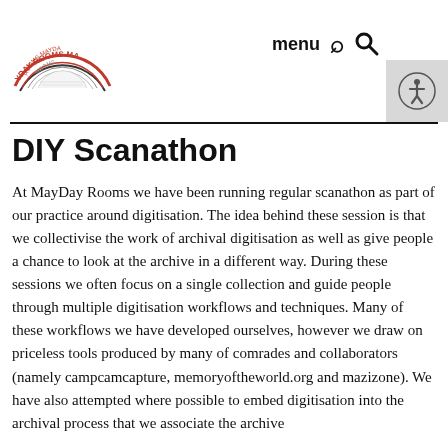MayDay Rooms logo, menu, search
DIY Scanathon
At MayDay Rooms we have been running regular scanathon as part of our practice around digitisation. The idea behind these session is that we collectivise the work of archival digitisation as well as give people a chance to look at the archive in a different way. During these sessions we often focus on a single collection and guide people through multiple digitisation workflows and techniques. Many of these workflows we have developed ourselves, however we draw on priceless tools produced by many of comrades and collaborators (namely campcamcapture, memoryoftheworld.org and mazizone). We have also attempted where possible to embed digitisation into the archival process that we associate the archive